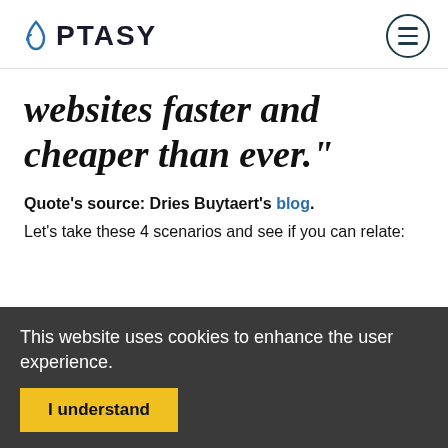OPTASY
websites faster and cheaper than ever."
Quote's source: Dries Buytaert's blog.
Let's take these 4 scenarios and see if you can relate:
This website uses cookies to enhance the user experience.
I understand